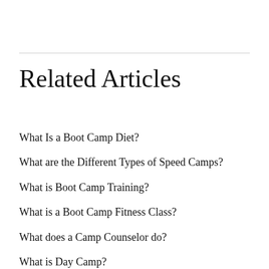Related Articles
What Is a Boot Camp Diet?
What are the Different Types of Speed Camps?
What is Boot Camp Training?
What is a Boot Camp Fitness Class?
What does a Camp Counselor do?
What is Day Camp?
Is Obesity Really a Big Problem in America?